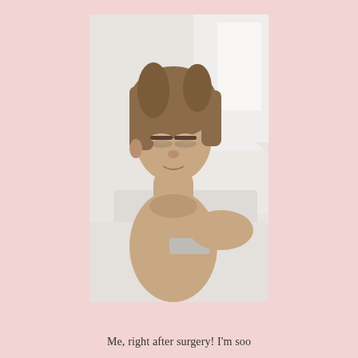[Figure (photo): A woman lying in a hospital bed after surgery, wearing a hospital gown, with disheveled hair and eyes partially closed, appearing drowsy post-surgery.]
Me, right after surgery! I'm soo